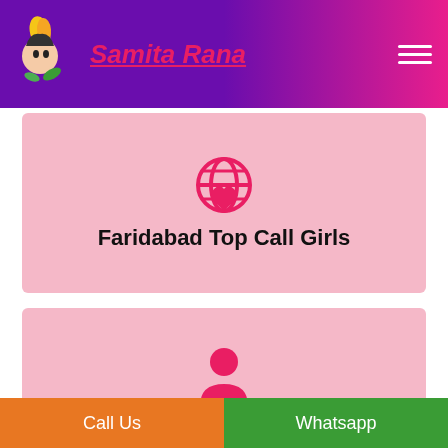[Figure (logo): Samita Rana logo with stylized face and flame on purple-to-pink gradient header]
Faridabad Top Call Girls
99.9% Client Satisfaction
Call Us | Whatsapp